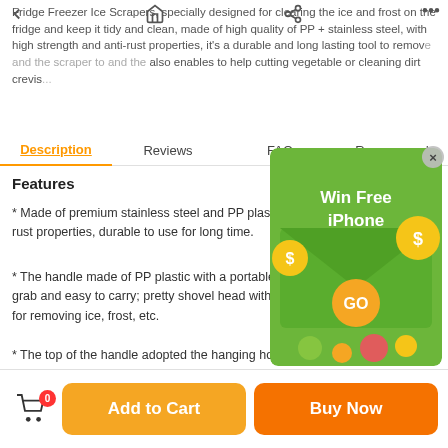Fridge Freezer Ice Scrapers, specially designed for clearing the ice and frost on the fridge and keep it tidy and clean, made of high quality of PP + stainless steel, with high strength and anti-rust properties, it's a durable and long lasting tool to remove and the scraper also enables to help cutting vegetable or cleaning dirt crevis...
Description | Reviews | FAQ | Recommend
[Figure (screenshot): Win Free iPhone advertisement overlay with green background, dollar signs, and GO button]
Features
* Made of premium stainless steel and PP plastic, with high strength and anti-rust properties, durable to use for long time.
* The handle made of PP plastic with a portable size, comfortable for you to grab and easy to carry; pretty shovel head with good performance, perfect for removing ice, frost, etc.
* The top of the handle adopted the hanging hole design, which is does not occupy space, convenient to hang and storage, you can hang it anywhere in your kitchen.
0  Add to Cart  Buy Now